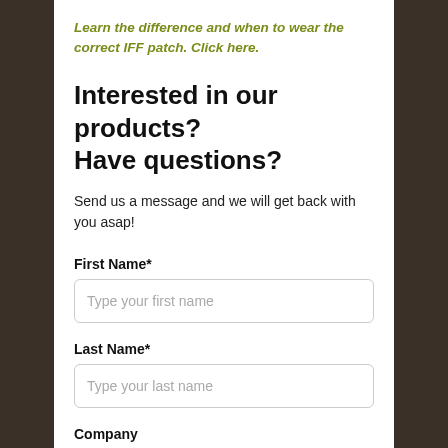Learn the difference and when to wear the correct IFF patch. Click here.
Interested in our products? Have questions?
Send us a message and we will get back with you asap!
First Name*
Type your first name
Last Name*
Type your last name
Company